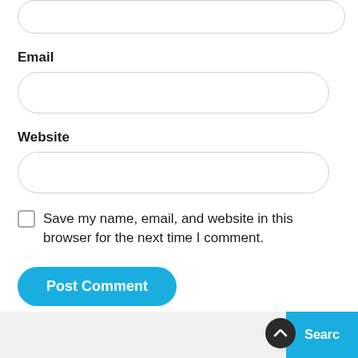(partial input field at top)
Email
(Email input field)
Website
(Website input field)
Save my name, email, and website in this browser for the next time I comment.
Post Comment
Searc